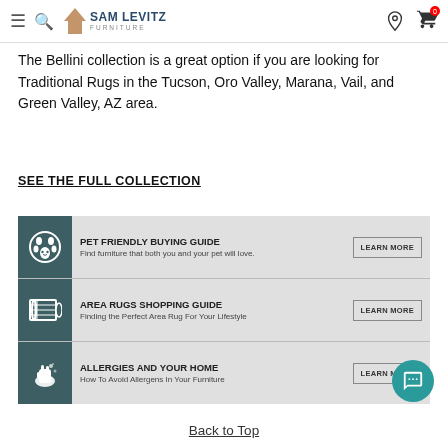collection details
[Figure (logo): Sam Levitz Furniture logo with house icon]
The Bellini collection is a great option if you are looking for Traditional Rugs in the Tucson, Oro Valley, Marana, Vail, and Green Valley, AZ area.
SEE THE FULL COLLECTION
[Figure (infographic): Three-row info banner: Pet Friendly Buying Guide, Area Rugs Shopping Guide, Allergies and Your Home — each with icon, description, and Learn More button]
Back to Top